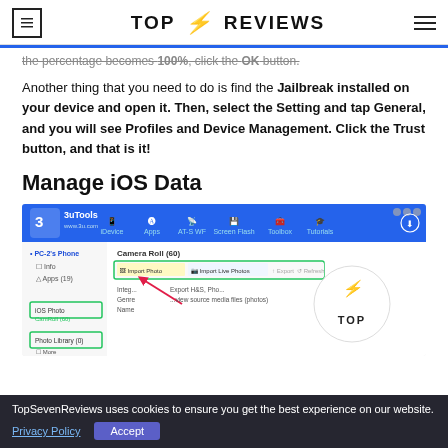TOP ⚡ REVIEWS
the percentage becomes 100%, click the OK button.
Another thing that you need to do is find the Jailbreak installed on your device and open it. Then, select the Setting and tap General, and you will see Profiles and Device Management. Click the Trust button, and that is it!
Manage iOS Data
[Figure (screenshot): Screenshot of 3uTools software interface showing device management with iDevice, Apps, AT&S WF, Screen Flash, Toolbox, Tutorials menu. Shows Camera Roll (60) panel with Import Photo and Import Live Photos options highlighted in green.]
TopSevenReviews uses cookies to ensure you get the best experience on our website.
Privacy Policy   Accept